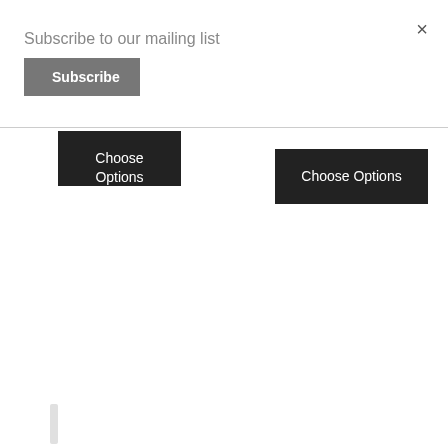×
Subscribe to our mailing list
Subscribe
Choose Options
Choose Options